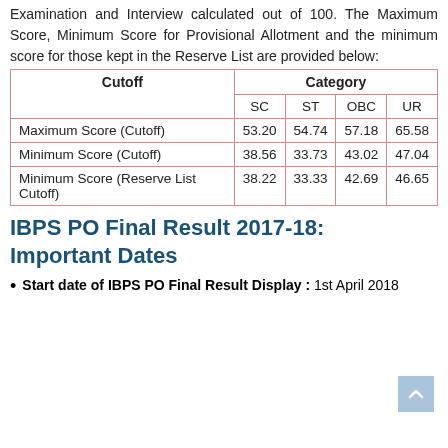Examination and Interview calculated out of 100. The Maximum Score, Minimum Score for Provisional Allotment and the minimum score for those kept in the Reserve List are provided below:
| Cutoff | SC | ST | OBC | UR |
| --- | --- | --- | --- | --- |
| Maximum Score (Cutoff) | 53.20 | 54.74 | 57.18 | 65.58 |
| Minimum Score (Cutoff) | 38.56 | 33.73 | 43.02 | 47.04 |
| Minimum Score (Reserve List Cutoff) | 38.22 | 33.33 | 42.69 | 46.65 |
IBPS PO Final Result 2017-18: Important Dates
Start date of IBPS PO Final Result Display : 1st April 2018